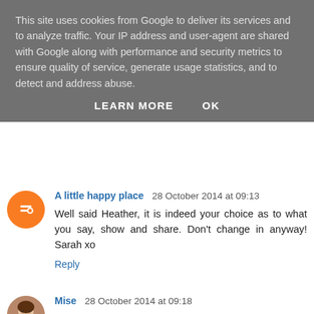This site uses cookies from Google to deliver its services and to analyze traffic. Your IP address and user-agent are shared with Google along with performance and security metrics to ensure quality of service, generate usage statistics, and to detect and address abuse.
LEARN MORE   OK
A little happy place  28 October 2014 at 09:13
Well said Heather, it is indeed your choice as to what you say, show and share. Don't change in anyway! Sarah xo
Reply
Mise  28 October 2014 at 09:18
I once visited a blog that was clearly attempting to stimulate me, educate me and provoke intelligent debate, but the whole thing was so wearisome that a large oak tree fell in my garden, unprompted, unexplained. I never read that blog nor its earnest kin again.
Reply